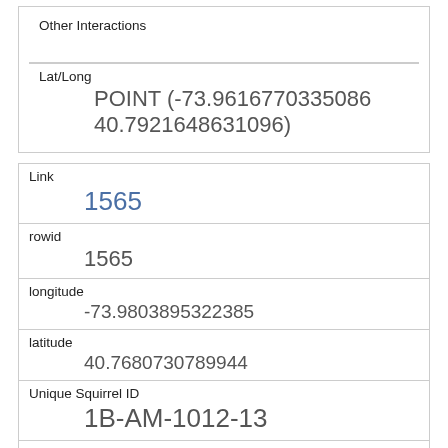| Other Interactions |  |
| Lat/Long | POINT (-73.9616770335086 40.7921648631096) |
| Link | 1565 |
| rowid | 1565 |
| longitude | -73.9803895322385 |
| latitude | 40.7680730789944 |
| Unique Squirrel ID | 1B-AM-1012-13 |
| Hectare | 01B |
| Shift | AM |
| Date | 10122019 |